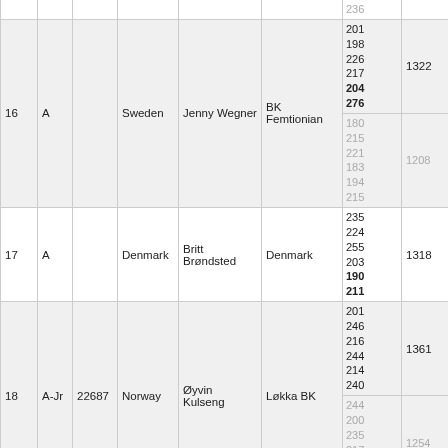| Rank | Cat | ID | Nation | Name | Club | Scores | Subtotal | Average |
| --- | --- | --- | --- | --- | --- | --- | --- | --- |
| 16 | A |  | Sweden | Jenny Wegner | BK Femtionian | 201 198 226 217 204 276 | 1322 | 220,33 |
|  |  |  |  |  |  | 180 215 221 183 194 215 | 1208 |  |
| 17 | A |  | Denmark | Britt Brøndsted | Denmark | 235 224 255 203 190 211 | 1318 | 219,67 |
| 18 | A-Jr | 22687 | Norway | Øyvin Kulseng | Løkka BK | 201 246 216 244 214 240 | 1361 | 226,83 |
|  |  |  |  |  |  | 244 200 235 217 168 190 | 1254 |  |
|  |  |  |  |  |  | 252 206 246 241 179 | 1351 |  |